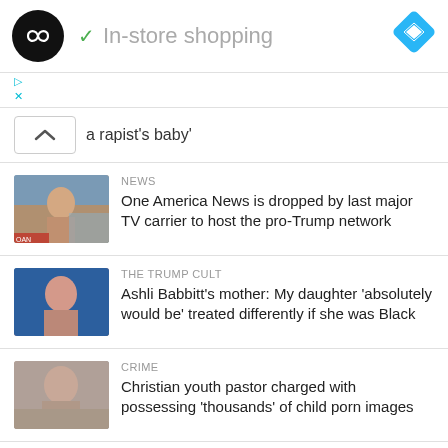[Figure (screenshot): App advertisement banner with circular black logo with infinity-like symbol, checkmark and 'In-store shopping' text, and blue diamond navigation icon]
a rapist's baby'
[Figure (photo): Female news reporter thumbnail]
NEWS
One America News is dropped by last major TV carrier to host the pro-Trump network
[Figure (photo): Woman mugshot photo thumbnail]
THE TRUMP CULT
Ashli Babbitt's mother: My daughter 'absolutely would be' treated differently if she was Black
[Figure (photo): Older man mugshot photo thumbnail]
CRIME
Christian youth pastor charged with possessing 'thousands' of child porn images
[Figure (photo): Partial person photo thumbnail at bottom]
JANUARY 6
Off duty cop who rioted on Jan 6 now tied for